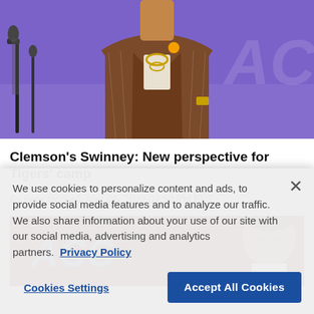[Figure (photo): Photo of Clemson coach Dabo Swinney wearing a brown pinstripe suit at a press conference podium with microphones, in front of a purple/blue ACC backdrop]
Clemson's Swinney: New perspective for Tigers' camp
By Pete Iacobelli Aug. 05, 2022 07:58 PM EDT
[Figure (photo): Photo of a man in front of red ACC media day backdrop with blue ACC logo]
We use cookies to personalize content and ads, to provide social media features and to analyze our traffic. We also share information about your use of our site with our social media, advertising and analytics partners. Privacy Policy
Cookies Settings
Accept All Cookies